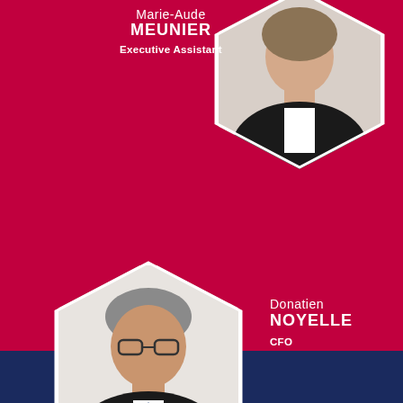[Figure (photo): Portrait photo of Marie-Aude Meunier in hexagonal frame, top right, on crimson background]
Marie-Aude MEUNIER
Executive Assistant
[Figure (photo): Portrait photo of Donatien Noyelle in hexagonal frame, bottom left, on crimson background]
Donatien NOYELLE
CFO